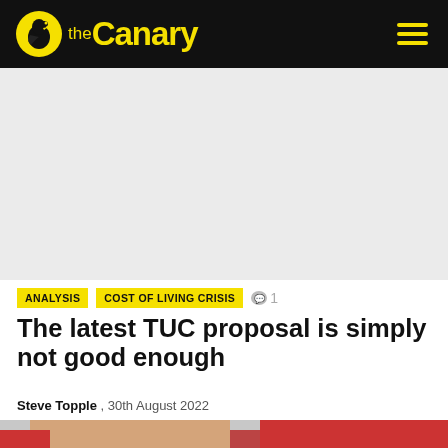the Canary
[Figure (photo): Advertisement / blank gray area placeholder]
ANALYSIS   COST OF LIVING CRISIS   💬 1
The latest TUC proposal is simply not good enough
Steve Topple , 30th August 2022
[Figure (photo): Woman speaking at a conference against a red background — appears to be a TUC-related event]